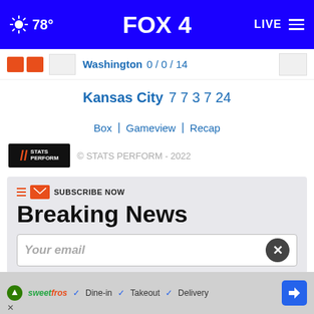78° FOX4 LIVE
Washington 0 / 0 / 14
Kansas City 7 7 3 7 24
Box | Gameview | Recap
© STATS PERFORM - 2022
Breaking News
SUBSCRIBE NOW
Your email
✓ Dine-in ✓ Takeout ✓ Delivery